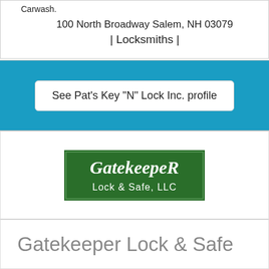Carwash.
100 North Broadway Salem, NH 03079
| Locksmiths |
See Pat's Key "N" Lock Inc. profile
[Figure (logo): Gatekeeper Lock & Safe, LLC logo — green rectangular sign with white serif text]
Gatekeeper Lock & Safe